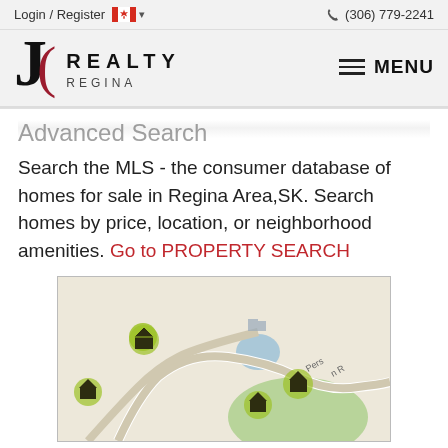Login / Register  🍁  ∨    (306) 779-2241
[Figure (logo): JC Realty Regina logo with J in black and C in dark red, REALTY REGINA text, and MENU hamburger button]
Advanced Search
Search the MLS - the consumer database of homes for sale in Regina Area,SK. Search homes by price, location, or neighborhood amenities. Go to PROPERTY SEARCH
[Figure (map): Map screenshot showing a neighborhood map with house icons (green with dark outline) marking property locations near a road labeled partially as 'Pers... R...' with a small pond/lake visible]
Map Search